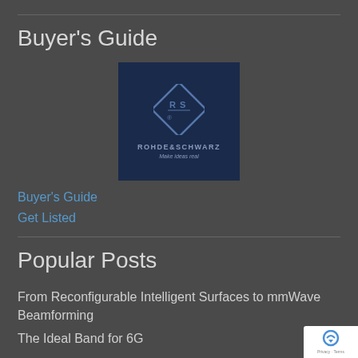Buyer's Guide
[Figure (logo): Rohde & Schwarz logo on dark navy background with diamond RS emblem, text 'ROHDE&SCHWARZ' and tagline 'Make ideas real']
Buyer's Guide
Get Listed
Popular Posts
From Reconfigurable Intelligent Surfaces to mmWave Beamforming
The Ideal Band for 6G